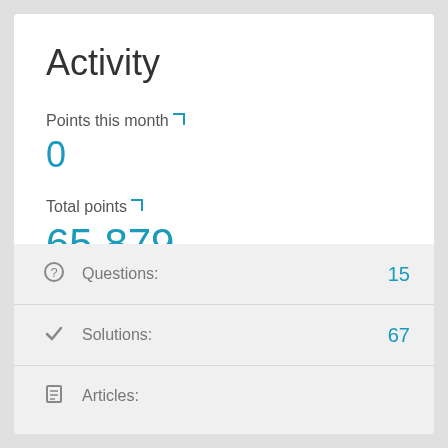Activity
Points this month: 0
Total points: 65,879
| Category | Count |
| --- | --- |
| Questions: | 15 |
| Solutions: | 67 |
| Articles: |  |